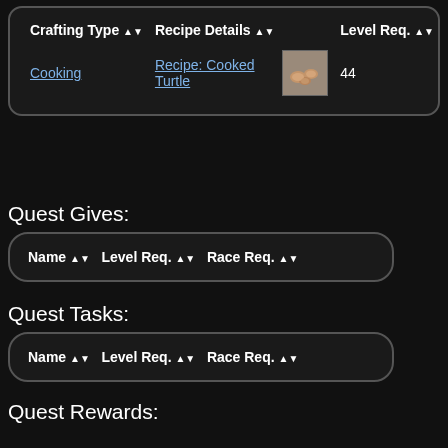| Crafting Type ▲▼ | Recipe Details ▲▼ |  | Level Req. ▲▼ |
| --- | --- | --- | --- |
| Cooking | Recipe: Cooked Turtle | [icon] | 44 |
Quest Gives:
| Name ▲▼ | Level Req. ▲▼ | Race Req. ▲▼ |
| --- | --- | --- |
Quest Tasks:
| Name ▲▼ | Level Req. ▲▼ | Race Req. ▲▼ |
| --- | --- | --- |
Quest Rewards:
| Name ▲▼ | Level Req. ▲▼ | Race Req. ▲▼ |
| --- | --- | --- |
Wiki Researchers: